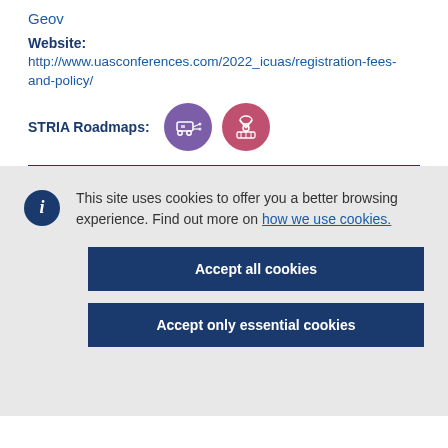Geov
Website: http://www.uasconferences.com/2022_icuas/registration-fees-and-policy/
STRIA Roadmaps:
[Figure (illustration): Two circular icons representing STRIA Roadmaps categories: a purple circle with a connected vehicles/transport icon and a red/pink circle with a satellite/space technology icon]
This site uses cookies to offer you a better browsing experience. Find out more on how we use cookies.
Accept all cookies
Accept only essential cookies